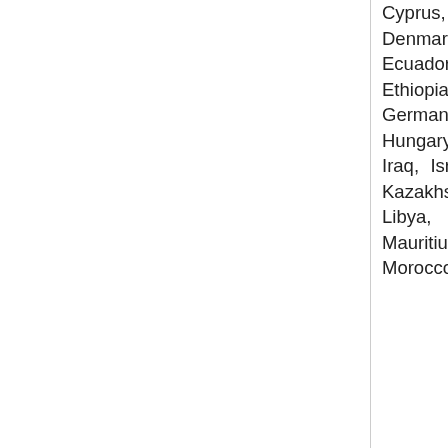Cyprus, Czech Republic, Denmark, Dominican Republic, Ecuador, Egypt, El Salvador, Ethiopia, Finland, France, Germany, Ghana, Greece, Hungary, India, Indonesia, Iran, Iraq, Israel, Italy, Japan, Jordan, Kazakhstan, Kenya, Lebanon, Libya, Luxembourg, Malaysia, Mauritius, Mexico, Mongolia, Morocco,